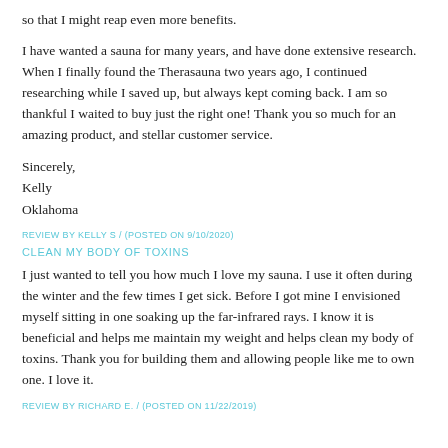so that I might reap even more benefits.
I have wanted a sauna for many years, and have done extensive research. When I finally found the Therasauna two years ago, I continued researching while I saved up, but always kept coming back. I am so thankful I waited to buy just the right one! Thank you so much for an amazing product, and stellar customer service.
Sincerely,
Kelly
Oklahoma
REVIEW BY KELLY S / (POSTED ON 9/10/2020)
CLEAN MY BODY OF TOXINS
I just wanted to tell you how much I love my sauna. I use it often during the winter and the few times I get sick. Before I got mine I envisioned myself sitting in one soaking up the far-infrared rays. I know it is beneficial and helps me maintain my weight and helps clean my body of toxins. Thank you for building them and allowing people like me to own one. I love it.
REVIEW BY RICHARD E. / (POSTED ON 11/22/2019)